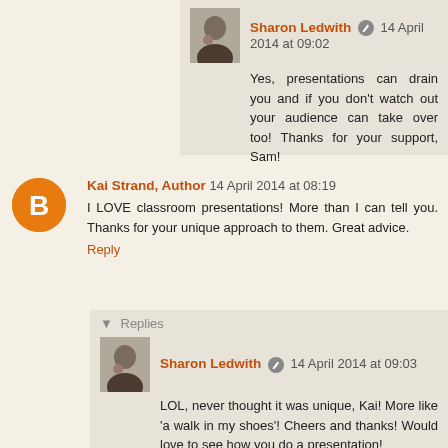[Figure (photo): Small avatar photo of Sharon Ledwith, woman with dark hair]
Sharon Ledwith  14 April 2014 at 09:02
Yes, presentations can drain you and if you don't watch out your audience can take over too! Thanks for your support, Sam!
Reply
[Figure (logo): Orange circular Blogger icon with B]
Kai Strand, Author  14 April 2014 at 08:19
I LOVE classroom presentations! More than I can tell you. Thanks for your unique approach to them. Great advice.
Reply
▾ Replies
[Figure (photo): Small avatar photo of Sharon Ledwith]
Sharon Ledwith  14 April 2014 at 09:03
LOL, never thought it was unique, Kai! More like 'a walk in my shoes'! Cheers and thanks! Would love to see how you do a presentation!